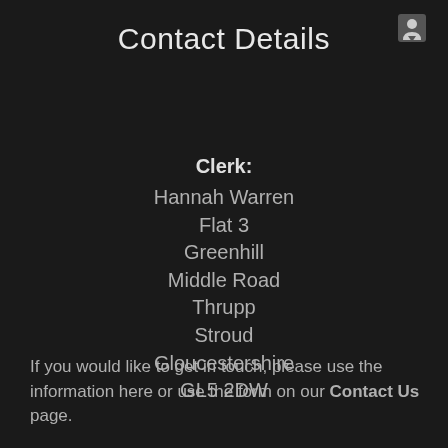Contact Details
Clerk:
Hannah Warren
Flat 3
Greenhill
Middle Road
Thrupp
Stroud
Gloucestershire
GL5 2DW
If you would like to get in touch, please use the information here or use the form on our Contact Us page.